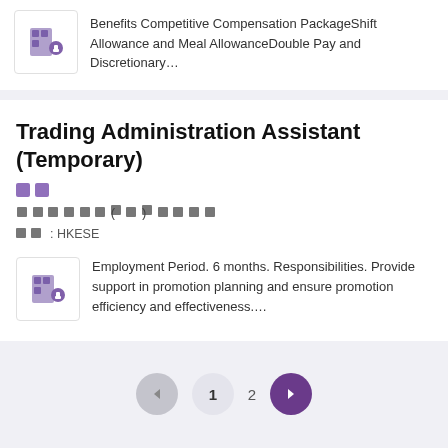Benefits Competitive Compensation PackageShift Allowance and Meal AllowanceDouble Pay and Discretionary…
Trading Administration Assistant (Temporary)
🟪🟪 (location tags)
XXXXXXX(XX)XXXXXX
来源 : HKESE
Employment Period. 6 months. Responsibilities. Provide support in promotion planning and ensure promotion efficiency and effectiveness….
Pagination: prev | 1 | 2 | next